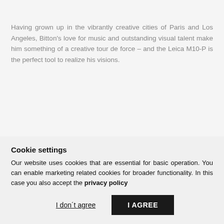Having grown up in the vibrantly creative cities of Paris and Los Angeles, Bitton's love for music and outstanding visual talent make him something of a creative tour de force – and the Leica M10-P is the perfect tool to realize his visions.
The quietest shutter of any M Camera ever
Cookie settings
Our website uses cookies that are essential for basic operation. You can enable marketing related cookies for broader functionality. In this case you also accept the privacy policy
I don't agree
I AGREE